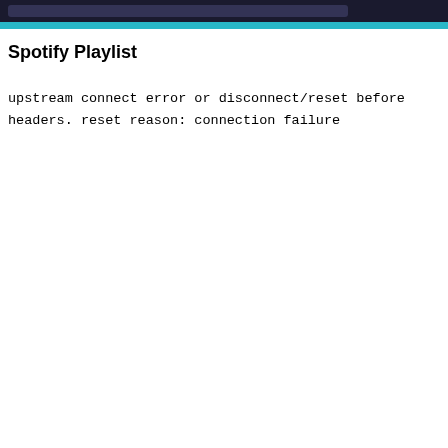Spotify Playlist
upstream connect error or disconnect/reset before headers. reset reason: connection failure